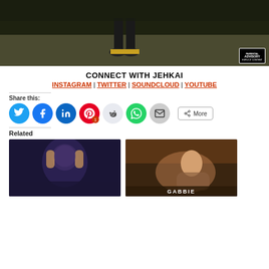[Figure (photo): Hero image showing a person standing on grass, feet visible with sneakers, darker background. Explicit advisory sticker in lower right.]
CONNECT WITH JEHKAI
INSTAGRAM | TWITTER | SOUNDCLOUD | YOUTUBE
Share this:
[Figure (other): Share buttons: Twitter (blue), Facebook (blue), LinkedIn (blue), Pinterest (red with badge 1), Reddit (light), WhatsApp (green), Email (gray), More button]
Related
[Figure (photo): Related article image 1: dark toned photo of person with hands on face]
[Figure (photo): Related article image 2: illustrated/painted style image with woman on car interior]